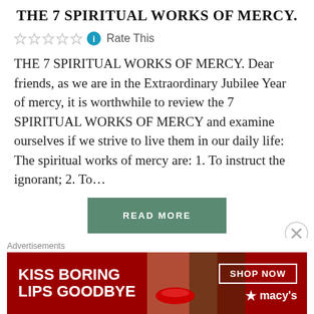THE 7 SPIRITUAL WORKS OF MERCY.
Rate This
THE 7 SPIRITUAL WORKS OF MERCY. Dear friends, as we are in the Extraordinary Jubilee Year of mercy, it is worthwhile to review the 7 SPIRITUAL WORKS OF MERCY and examine ourselves if we strive to live them in our daily life: The spiritual works of mercy are: 1. To instruct the ignorant; 2. To...
READ MORE
Advertisements
[Figure (illustration): Macy's advertisement banner with red background showing a woman's face with red lips, text 'KISS BORING LIPS GOODBYE', 'SHOP NOW' button, and Macy's star logo]